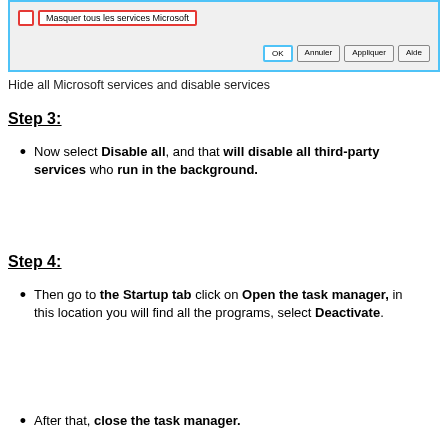[Figure (screenshot): Screenshot of a Windows system configuration dialog showing a checkbox labeled 'Masquer tous les services Microsoft' outlined in red, with OK, Annuler, Appliquer, and Aide buttons at the bottom.]
Hide all Microsoft services and disable services
Step 3:
Now select Disable all, and that will disable all third-party services who run in the background.
Step 4:
Then go to the Startup tab click on Open the task manager, in this location you will find all the programs, select Deactivate.
After that, close the task manager.